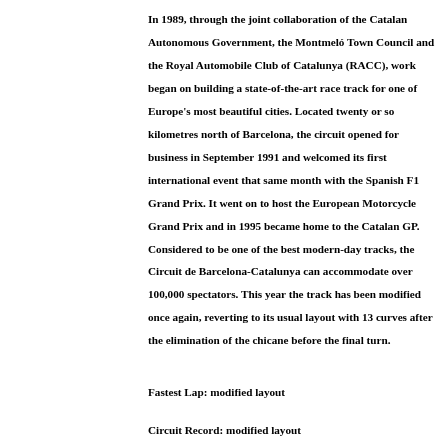In 1989, through the joint collaboration of the Catalan Autonomous Government, the Montmeló Town Council and the Royal Automobile Club of Catalunya (RACC), work began on building a state-of-the-art race track for one of Europe's most beautiful cities. Located twenty or so kilometres north of Barcelona, the circuit opened for business in September 1991 and welcomed its first international event that same month with the Spanish F1 Grand Prix. It went on to host the European Motorcycle Grand Prix and in 1995 became home to the Catalan GP. Considered to be one of the best modern-day tracks, the Circuit de Barcelona-Catalunya can accommodate over 100,000 spectators. This year the track has been modified once again, reverting to its usual layout with 13 curves after the elimination of the chicane before the final turn.
Fastest Lap: modified layout
Circuit Record: modified layout